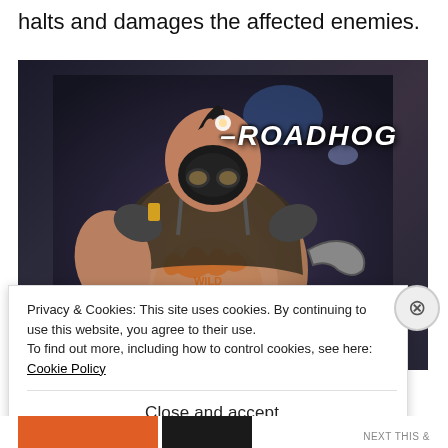halts and damages the affected enemies.
[Figure (screenshot): Screenshot of the video game character Roadhog from Overwatch. A large, heavily built character with a pig-theme mask, tattoos on his belly, and weapons. The name 'ROADHOG' appears in the upper right of the image in white italic text.]
Privacy & Cookies: This site uses cookies. By continuing to use this website, you agree to their use.
To find out more, including how to control cookies, see here: Cookie Policy
Close and accept